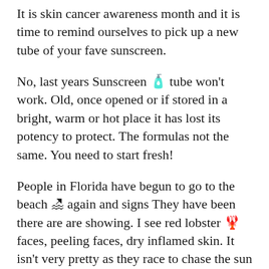It is skin cancer awareness month and it is time to remind ourselves to pick up a new tube of your fave sunscreen.
No, last years Sunscreen 🧴 tube won't work. Old, once opened or if stored in a bright, warm or hot place it has lost its potency to protect. The formulas not the same. You need to start fresh!
People in Florida have begun to go to the beach 🏖 again and signs They have been there are are showing. I see red lobster 🦞 faces, peeling faces, dry inflamed skin. It isn't very pretty as they race to chase the sun and a bit of color. I realize people are restless. A pandemic isn't much fun is it?
But SKIN CANCER is probably worse. Especially if it is Melanoma. Skin cancer can be fatal. Protect the children too, children love to go to swimming in it.